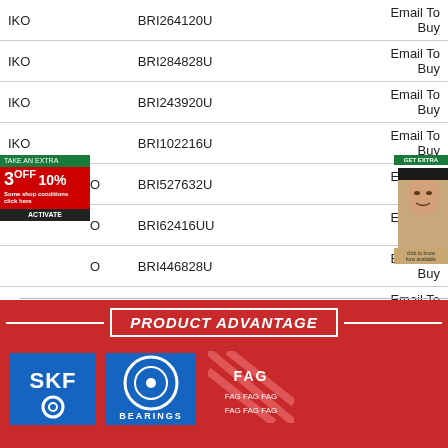| Brand | Part Number | Action |
| --- | --- | --- |
| IKO | BRI264120U | Email To Buy |
| IKO | BRI284828U | Email To Buy |
| IKO | BRI243920U | Email To Buy |
| IKO | BRI102216U | Email To Buy |
| IKO | BRI527632U | Email To Buy |
| IKO | BRI62416UU | Email To Buy |
| IKO | BRI446828U | Email To Buy |
| IKO | BRI487232U | Email To Buy |
| IKO | BRI223520U | Email To Buy |
| IKO | BRI162820U | Email To Buy |
| IKO | BRI203320U | Email To Buy |
| NTN | M281649D/M281610/M281610DG2 | Email To Buy |
| IKO | BRI82016U | Email To Buy |
PRODUCT ADVANTAGE
[Figure (logo): SKF brand logo - blue background with SKF text and bearing ring icon]
[Figure (logo): NSK brand logo - blue background with circular bearing ring and BEARINGS text]
[Figure (logo): FAG brand logo - red diagonal pattern background]